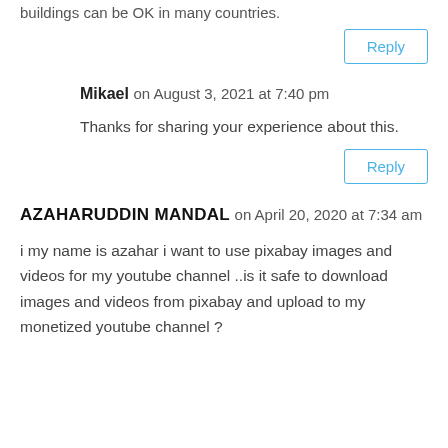buildings can be OK in many countries.
Reply
Mikael on August 3, 2021 at 7:40 pm
Thanks for sharing your experience about this.
Reply
AZAHARUDDIN MANDAL on April 20, 2020 at 7:34 am
i my name is azahar i want to use pixabay images and videos for my youtube channel ..is it safe to download images and videos from pixabay and upload to my monetized youtube channel ?